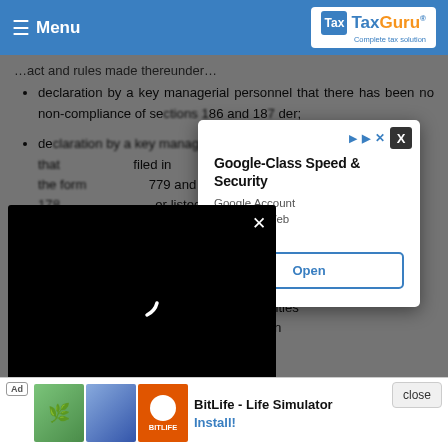Menu | TaxGuru® - Complete tax solution
declaration by a key managerial personnel that there has been no non-compliance of sections 186 and 18[...] under;
declaration by a key managerial personnel [...] filed in [...] 779 and [...] ever listed [...] es and if [...] es were [...] isting of the shares in accordance with the applicable rules and regulations laid down by Securities Exchange Board of India; Provided that in [...] key
[Figure (screenshot): Google ad popup showing 'Google-Class Speed & Security' with Google Account, Domains, Web text and an Open button]
[Figure (screenshot): Video player popup with black background showing a loading spinner/cursor icon and an X close button]
[Figure (screenshot): Bottom advertisement bar showing BitLife - Life Simulator app ad with Install button and close option]